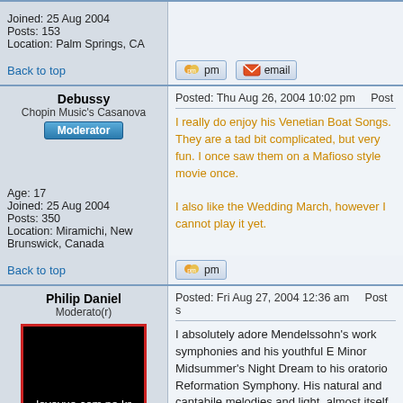Joined: 25 Aug 2004
Posts: 153
Location: Palm Springs, CA
Back to top
Debussy
Chopin Music's Casanova
Moderator
Posted: Thu Aug 26, 2004 10:02 pm    Post
I really do enjoy his Venetian Boat Songs. They are a tad bit complicated, but very fun. I once saw them on a Mafioso style movie once.

I also like the Wedding March, however I cannot play it yet.
Age: 17
Joined: 25 Aug 2004
Posts: 350
Location: Miramichi, New Brunswick, Canada
Back to top
Philip Daniel
Moderato(r)
Posted: Fri Aug 27, 2004 12:36 am    Post s
I absolutely adore Mendelssohn's wo symphonies and his youthful E Mino Midsummer's Night Dream to his ora Reformation Symphony. His natural a cantabile melodies and light, almost itself early in his youth. Apart from Pe Saens, he was the greatest youthful contrapuntal techniques and learned later work great power and significan his equals in polyphonic skill during h sense of formal structure never fails form was never defective. Indeed h
[Figure (photo): Black image with red border showing text loveyue.com.ne.kr]